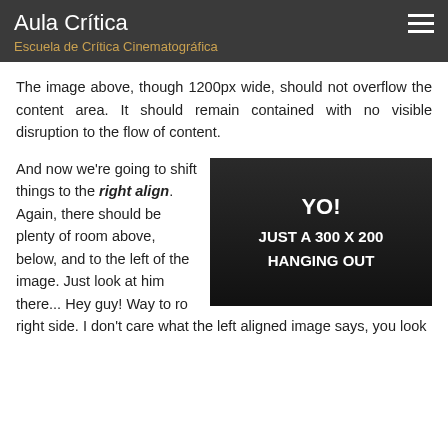Aula Crítica
Escuela de Crítica Cinematográfica
The image above, though 1200px wide, should not overflow the content area. It should remain contained with no visible disruption to the flow of content.
And now we're going to shift things to the right align. Again, there should be plenty of room above, below, and to the left of the image. Just look at him there... Hey guy! Way to rock that right side. I don't care what the left aligned image says, you look
[Figure (other): Dark image placeholder with text 'YO! JUST A 300 X 200 HANGING OUT' in white on black background]